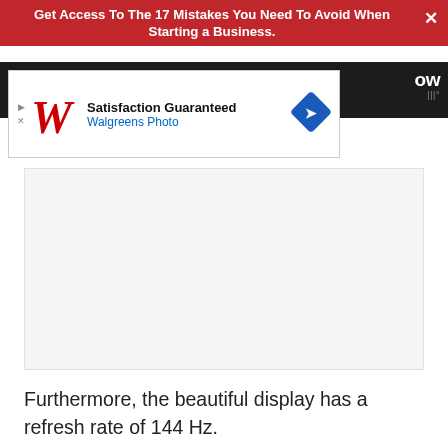Get Access To The 17 Mistakes You Need To Avoid When Starting a Business.
[Figure (screenshot): Walgreens Photo advertisement banner: 'Satisfaction Guaranteed' with Walgreens W logo and blue arrow icon]
[Figure (photo): Large image placeholder area (light gray, content not loaded)]
Furthermore, the beautiful display has a refresh rate of 144 Hz.